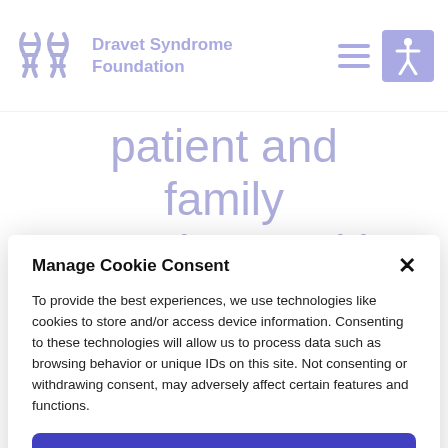Dravet Syndrome Foundation
patient and family experience with
Manage Cookie Consent
To provide the best experiences, we use technologies like cookies to store and/or access device information. Consenting to these technologies will allow us to process data such as browsing behavior or unique IDs on this site. Not consenting or withdrawing consent, may adversely affect certain features and functions.
Accept
Cookie Policy  Privacy Statement  Imprint